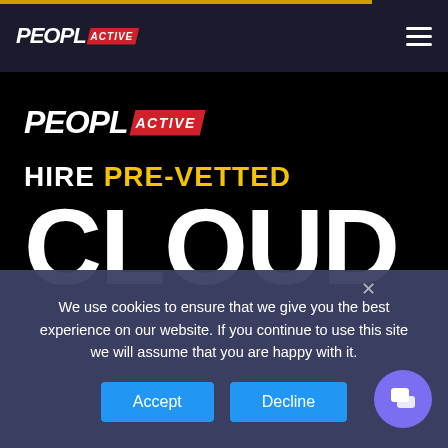PEOPL ACTIVE — navigation bar with logo and hamburger menu
[Figure (logo): PeopleActive logo in hero area — italic white bold PEOPL with red slanted badge reading ACTIVE]
HIRE PRE-VETTED CLOUD
We use cookies to ensure that we give you the best experience on our website. If you continue to use this site we will assume that you are happy with it.
Accept | Decline